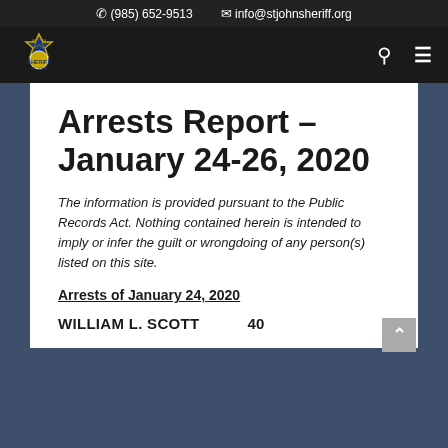(985) 652-9513   info@stjohnsheriff.org
[Figure (logo): St. John Sheriff's Office star badge logo]
Arrests Report – January 24-26, 2020
The information is provided pursuant to the Public Records Act. Nothing contained herein is intended to imply or infer the guilt or wrongdoing of any person(s) listed on this site.
Arrests of January 24, 2020
WILLIAM L. SCOTT   40